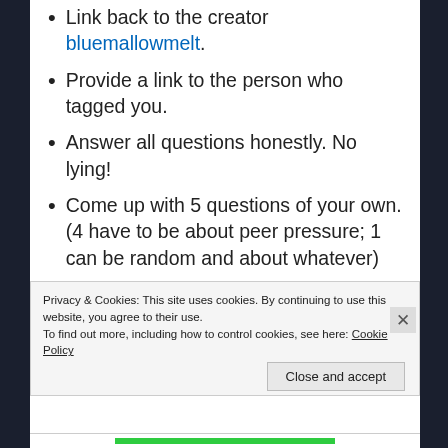Link back to the creator bluemallowmelt.
Provide a link to the person who tagged you.
Answer all questions honestly. No lying!
Come up with 5 questions of your own. (4 have to be about peer pressure; 1 can be random and about whatever)
Tag at least 10 people and provide links to their blogs.
Recommend at least 5 books or songs you see everywhere/are very popular that you've read
Privacy & Cookies: This site uses cookies. By continuing to use this website, you agree to their use. To find out more, including how to control cookies, see here: Cookie Policy
Close and accept